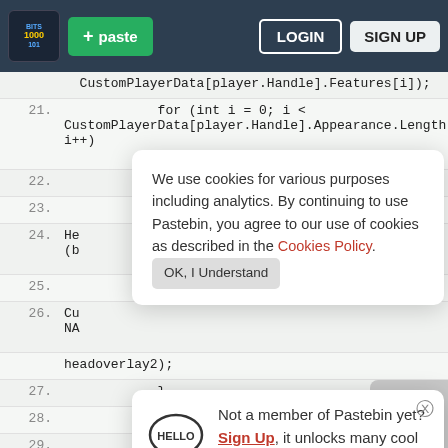Pastebin navigation bar with logo, paste button, login and sign up buttons
[Figure (screenshot): Pastebin code editor screenshot showing C# code lines 21-29 with cookie consent banner and sign-up popup overlaid]
We use cookies for various purposes including analytics. By continuing to use Pastebin, you agree to our use of cookies as described in the Cookies Policy. OK, I Understand
Not a member of Pastebin yet? Sign Up, it unlocks many cool features!